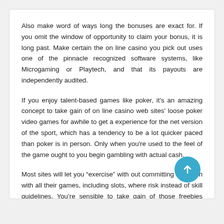Also make word of ways long the bonuses are exact for. If you omit the window of opportunity to claim your bonus, it is long past. Make certain the on line casino you pick out uses one of the pinnacle recognized software systems, like Microgaming or Playtech, and that its payouts are independently audited.
If you enjoy talent-based games like poker, it's an amazing concept to take gain of on line casino web sites' loose poker video games for awhile to get a experience for the net version of the sport, which has a tendency to be a lot quicker paced than poker is in person. Only when you're used to the feel of the game ought to you begin gambling with actual cash.
Most sites will let you “exercise” with out committing any cash with all their games, including slots, where risk instead of skill guidelines. You’re sensible to take gain of those freebies before playing for real. It’s easy to do your homework before signing with a web on line casino, and taking that little bit of extra time will assist make sure that you have a tremendous and exciting on line gaming enj…